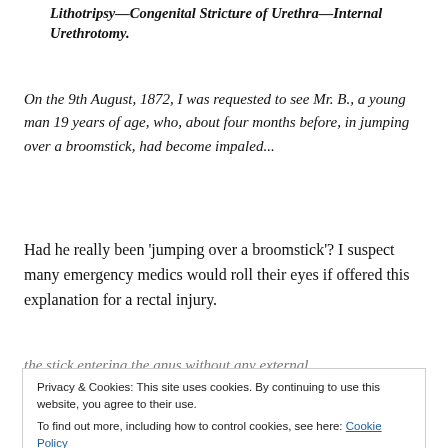Lithotripsy—Congenital Stricture of Urethra—Internal Urethrotomy.
On the 9th August, 1872, I was requested to see Mr. B., a young man 19 years of age, who, about four months before, in jumping over a broomstick, had become impaled...
Had he really been 'jumping over a broomstick'? I suspect many emergency medics would roll their eyes if offered this explanation for a rectal injury.
the stick entering the anus without any external
Privacy & Cookies: This site uses cookies. By continuing to use this website, you agree to their use. To find out more, including how to control cookies, see here: Cookie Policy
A nasty-sounding injury.
A hole, an inch in length and three-quarters of an